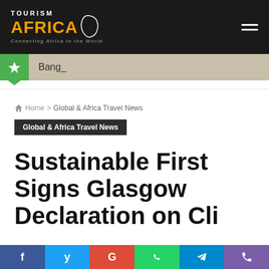TOURISM AFRICA — Connecting Africa to the World
Bang_
Home > Global & Africa Travel News
Global & Africa Travel News
Sustainable First Signs Glasgow Declaration on Cli…